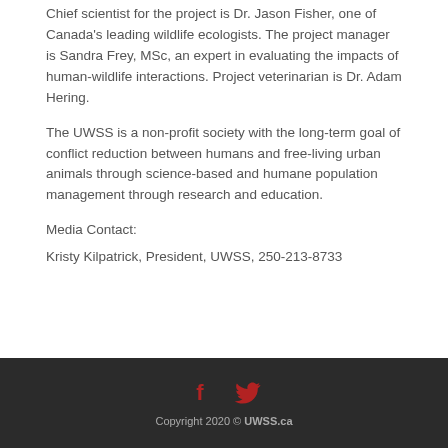Chief scientist for the project is Dr. Jason Fisher, one of Canada's leading wildlife ecologists. The project manager is Sandra Frey, MSc, an expert in evaluating the impacts of human-wildlife interactions. Project veterinarian is Dr. Adam Hering.
The UWSS is a non-profit society with the long-term goal of conflict reduction between humans and free-living urban animals through science-based and humane population management through research and education.
Media Contact:
Kristy Kilpatrick, President, UWSS, 250-213-8733
Copyright 2020 © UWSS.ca